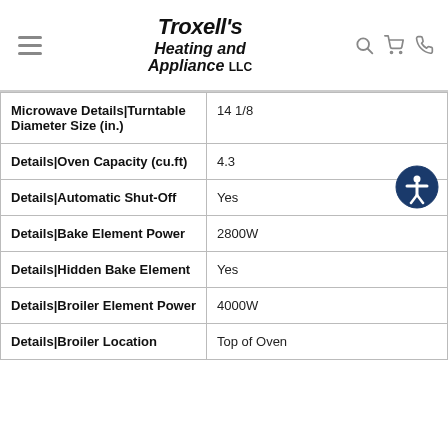Troxell's Heating and Appliance LLC
| Attribute | Value |
| --- | --- |
| Microwave Details|Turntable Diameter Size (in.) | 14 1/8 |
| Details|Oven Capacity (cu.ft) | 4.3 |
| Details|Automatic Shut-Off | Yes |
| Details|Bake Element Power | 2800W |
| Details|Hidden Bake Element | Yes |
| Details|Broiler Element Power | 4000W |
| Details|Broiler Location | Top of Oven |